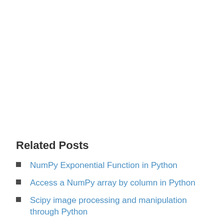Related Posts
NumPy Exponential Function in Python
Access a NumPy array by column in Python
Scipy image processing and manipulation through Python